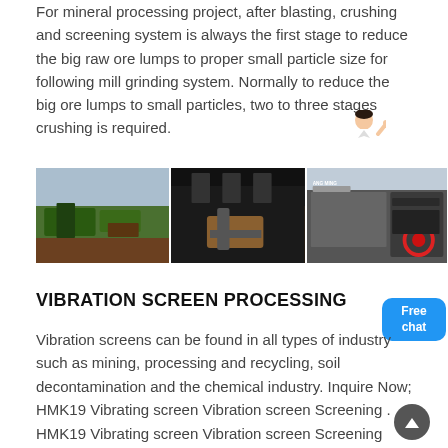For mineral processing project, after blasting, crushing and screening system is always the first stage to reduce the big raw ore lumps to proper small particle size for following mill grinding system. Normally to reduce the big ore lumps to small particles, two to three stages crushing is required.
[Figure (photo): Three side-by-side photos showing mineral processing/vibration screen equipment: outdoor green crushing machinery on the left, a dark indoor factory scene in the center, and warehouse/screening equipment on the right with a red-circled component. A 'Free chat' button overlays the top-right corner, and a female customer service avatar appears above it.]
VIBRATION SCREEN PROCESSING
Vibration screens can be found in all types of industry such as mining, processing and recycling, soil decontamination and the chemical industry. Inquire Now; HMK19 Vibrating screen Vibration screen Screening . HMK19 Vibrating screen Vibration screen Screening machine Sieving equipment. July 13, 2017. Buy